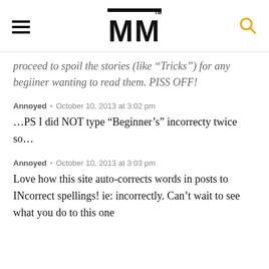MM
proceed to spoil the stories (like “Tricks”) for any begiiner wanting to read them. PISS OFF!
Annoyed • October 10, 2013 at 3:02 pm
…PS I did NOT type “Beginner’s” incorrecty twice so…
Annoyed • October 10, 2013 at 3:03 pm
Love how this site auto-corrects words in posts to INcorrect spellings! ie: incorrectly. Can’t wait to see what you do to this one